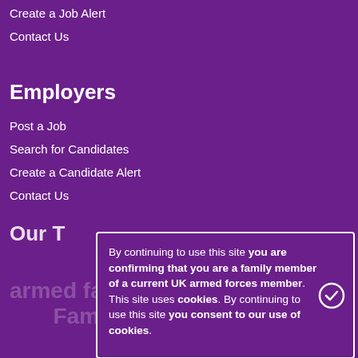Create a Job Alert
Contact Us
Employers
Post a Job
Search for Candidates
Create a Candidate Alert
Contact Us
By continuing to use this site you are confirming that you are a family member of a current UK armed forces member. This site uses cookies. By continuing to use this site you consent to our use of cookies.
Our T
...armed families... Online Families Federation